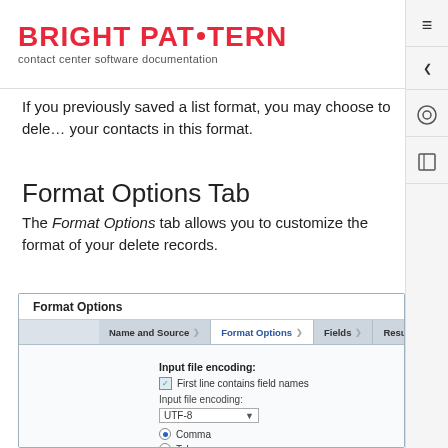BRIGHT PATTERN contact center software documentation
If you previously saved a list format, you may choose to delete your contacts in this format.
Format Options Tab
The Format Options tab allows you to customize the format of your delete records.
[Figure (screenshot): Screenshot of Format Options dialog showing wizard tabs (Name and Source, Format Options, Fields, Results) and form fields: Input file encoding checkbox for First line contains field names, Input file encoding dropdown set to UTF-8, and radio buttons for Comma, Tab, Semicolon.]